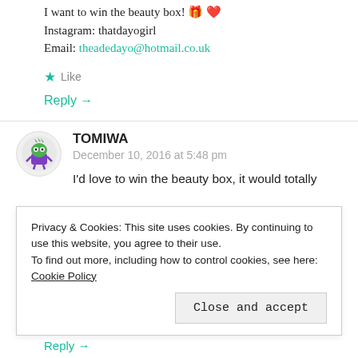I want to win the beauty box! 🎁 ❤️
Instagram: thatdayogirl
Email: theadedayo@hotmail.co.uk
★ Like
Reply →
TOMIWA
December 10, 2016 at 5:48 pm
I'd love to win the beauty box, it would totally
Privacy & Cookies: This site uses cookies. By continuing to use this website, you agree to their use.
To find out more, including how to control cookies, see here: Cookie Policy
Close and accept
Reply →